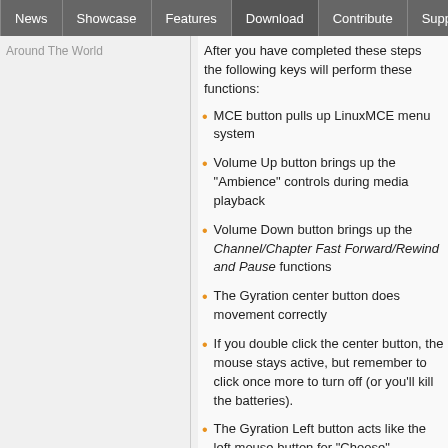News | Showcase | Features | Download | Contribute | Support
Around The World
After you have completed these steps the following keys will perform these functions:
MCE button pulls up LinuxMCE menu system
Volume Up button brings up the "Ambience" controls during media playback
Volume Down button brings up the Channel/Chapter Fast Forward/Rewind and Pause functions
The Gyration center button does movement correctly
If you double click the center button, the mouse stays active, but remember to click once more to turn off (or you'll kill the batteries).
The Gyration Left button acts like the left mouse button for "Choose" functions